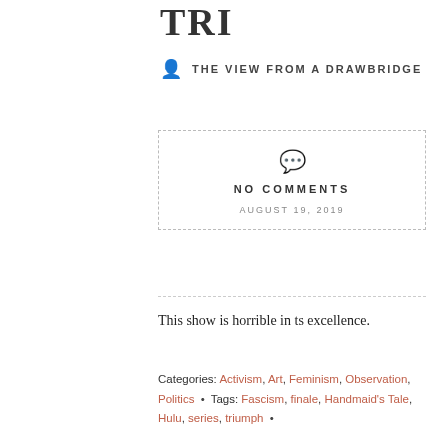TRI
THE VIEW FROM A DRAWBRIDGE
NO COMMENTS
AUGUST 19, 2019
This show is horrible in ts excellence.
Categories: Activism, Art, Feminism, Observation, Politics • Tags: Fascism, finale, Handmaid's Tale, Hulu, series, triumph •